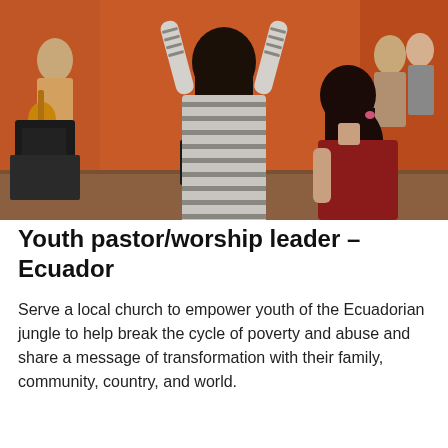[Figure (photo): Indoor worship scene: a person in a striped long-sleeve shirt facing away with arms raised in worship, a girl with a ponytail beside them, musicians with guitars in the background against an orange/brown wall.]
Youth pastor/worship leader – Ecuador
Serve a local church to empower youth of the Ecuadorian jungle to help break the cycle of poverty and abuse and share a message of transformation with their family, community, country, and world.